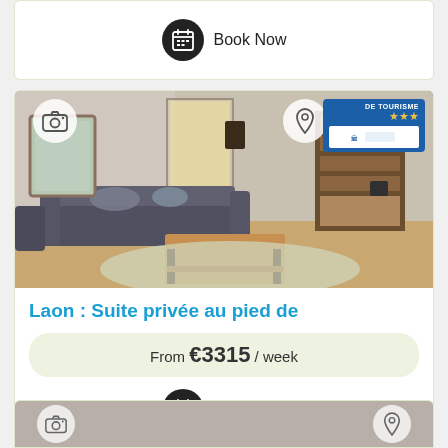[Figure (screenshot): Partial top of a rental listing card showing a Book Now button with calendar icon on white background]
[Figure (photo): Interior photo of a living room with grey sofa, wooden coffee table, patterned rug, bookshelf, mirror, and parquet flooring. Tourism badge with 3 stars in top right corner. Camera icon top left, location pin icon top right.]
Laon : Suite privée au pied de
From €3315 / week
Book Now
[Figure (photo): Partial bottom of another rental listing card, partially visible, with camera icon and location pin icon]